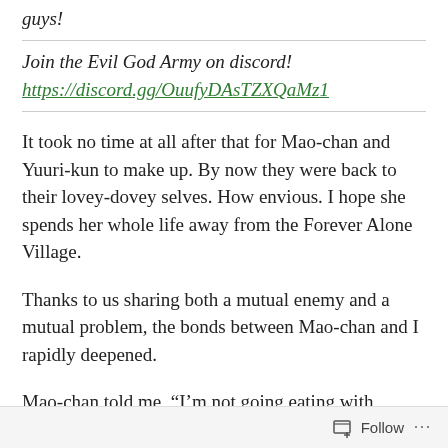guys!
Join the Evil God Army on discord!
https://discord.gg/OuufyDAsTZXQaMz1
It took no time at all after that for Mao-chan and Yuuri-kun to make up. By now they were back to their lovey-dovey selves. How envious. I hope she spends her whole life away from the Forever Alone Village.
Thanks to us sharing both a mutual enemy and a mutual problem, the bonds between Mao-chan and I rapidly deepened.
Mao-chan told me, “I’m not going eating with Haruto-niisama anymore!” which was a sentiment that I shared. It wouldn’t be
Follow ...